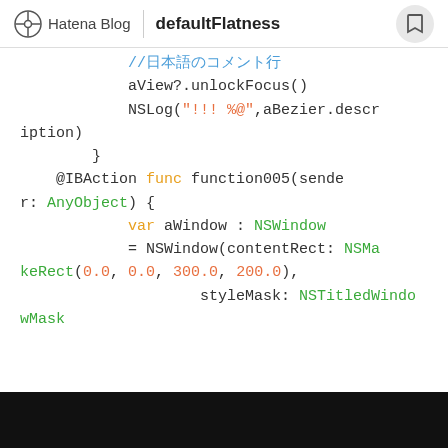Hatena Blog | defaultFlatness
[Figure (screenshot): Code block showing Swift code with syntax highlighting: comment line, aView?.unlockFocus(), NSLog string, closing brace, @IBAction func function005, var aWindow : NSWindow = NSWindow(contentRect: NSMakeRect(0.0, 0.0, 300.0, 200.0), styleMask: NSTitledWindowMask]